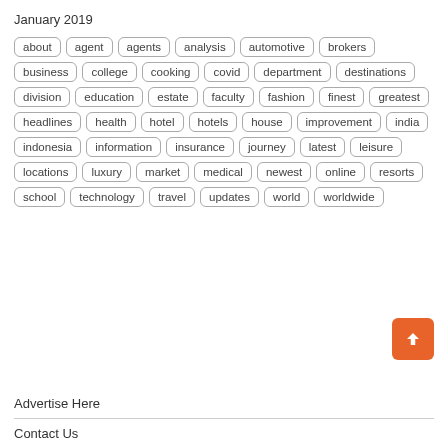January 2019
[Figure (other): Tag cloud with keywords: about, agent, agents, analysis, automotive, brokers, business, college, cooking, covid, department, destinations, division, education, estate, faculty, fashion, finest, greatest, headlines, health, hotel, hotels, house, improvement, india, indonesia, information, insurance, journey, latest, leisure, locations, luxury, market, medical, newest, online, resorts, school, technology, travel, updates, world, worldwide]
Advertise Here
Contact Us